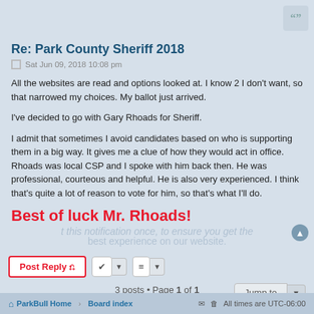Quote button
Re: Park County Sheriff 2018
Sat Jun 09, 2018 10:08 pm
All the websites are read and options looked at. I know 2 I don't want, so that narrowed my choices. My ballot just arrived.
I've decided to go with Gary Rhoads for Sheriff.
I admit that sometimes I avoid candidates based on who is supporting them in a big way. It gives me a clue of how they would act in office. Rhoads was local CSP and I spoke with him back then. He was professional, courteous and helpful. He is also very experienced. I think that's quite a lot of reason to vote for him, so that's what I'll do.
Best of luck Mr. Rhoads!
ParkBull Home  Board index  All times are UTC-06:00